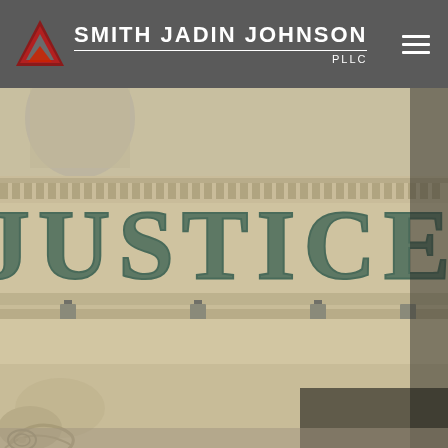Smith Jadin Johnson PLLC
[Figure (photo): Photograph of a courthouse frieze with the word JUSTICE carved and painted in dark green letters on stone architectural detail, with Ionic column capital visible at bottom and classical sculpture partially visible at top.]